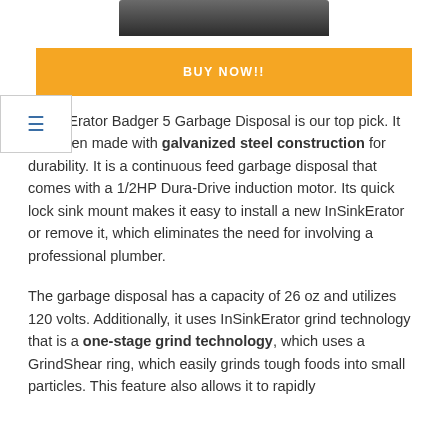[Figure (photo): Partial view of a garbage disposal unit (InSinkErator Badger 5) — dark metallic product image cropped at top]
BUY NOW!!
...SinkErator Badger 5 Garbage Disposal is our top pick. It has been made with galvanized steel construction for durability. It is a continuous feed garbage disposal that comes with a 1/2HP Dura-Drive induction motor. Its quick lock sink mount makes it easy to install a new InSinkErator or remove it, which eliminates the need for involving a professional plumber.
The garbage disposal has a capacity of 26 oz and utilizes 120 volts. Additionally, it uses InSinkErator grind technology that is a one-stage grind technology, which uses a GrindShear ring, which easily grinds tough foods into small particles. This feature also allows it to rapidly